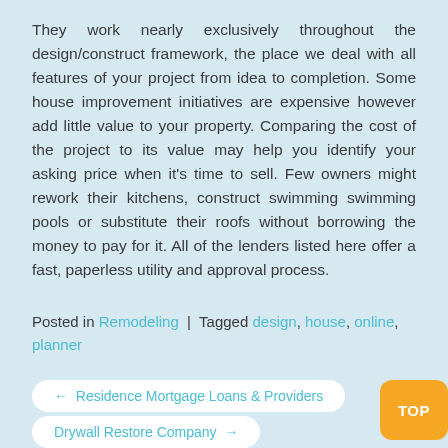They work nearly exclusively throughout the design/construct framework, the place we deal with all features of your project from idea to completion. Some house improvement initiatives are expensive however add little value to your property. Comparing the cost of the project to its value may help you identify your asking price when it's time to sell. Few owners might rework their kitchens, construct swimming swimming pools or substitute their roofs without borrowing the money to pay for it. All of the lenders listed here offer a fast, paperless utility and approval process.
Posted in Remodeling | Tagged design, house, online, planner
← Residence Mortgage Loans & Providers
Drywall Restore Company →
TOP